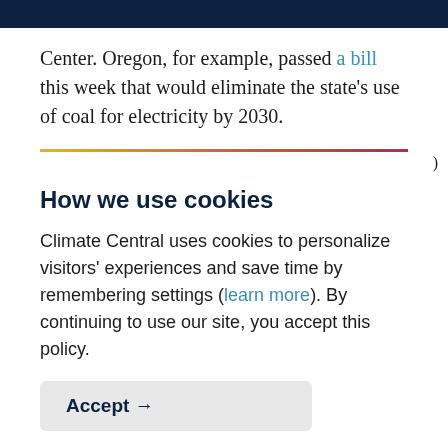Center. Oregon, for example, passed a bill this week that would eliminate the state's use of coal for electricity by 2030.
How we use cookies
Climate Central uses cookies to personalize visitors' experiences and save time by remembering settings (learn more). By continuing to use our site, you accept this policy.
Accept →